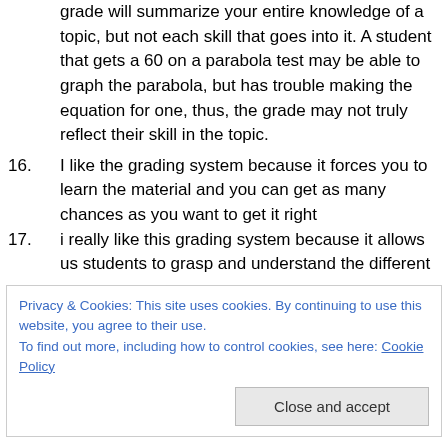grade will summarize your entire knowledge of a topic, but not each skill that goes into it. A student that gets a 60 on a parabola test may be able to graph the parabola, but has trouble making the equation for one, thus, the grade may not truly reflect their skill in the topic.
16. I like the grading system because it forces you to learn the material and you can get as many chances as you want to get it right
17. i really like this grading system because it allows us students to grasp and understand the different
Privacy & Cookies: This site uses cookies. By continuing to use this website, you agree to their use.
To find out more, including how to control cookies, see here: Cookie Policy
thing i really disklike about it is the line that differs a 3